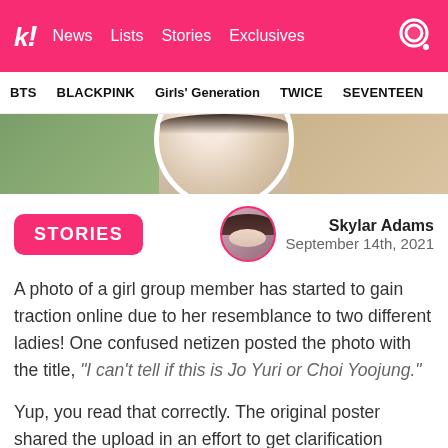k! News Lists Stories Exclusives
BTS BLACKPINK Girls' Generation TWICE SEVENTEEN
[Figure (photo): Cropped close-up photo of a K-pop girl group member with long dark hair, wearing a light beige outfit, with a circular bright backlight behind her head. Background shows green foliage on the left and warm tones on the right.]
STORIES
Skylar Adams
September 14th, 2021
A photo of a girl group member has started to gain traction online due to her resemblance to two different ladies! One confused netizen posted the photo with the title, “I can’t tell if this is Jo Yuri or Choi Yoojung.”
Yup, you read that correctly. The original poster shared the upload in an effort to get clarification